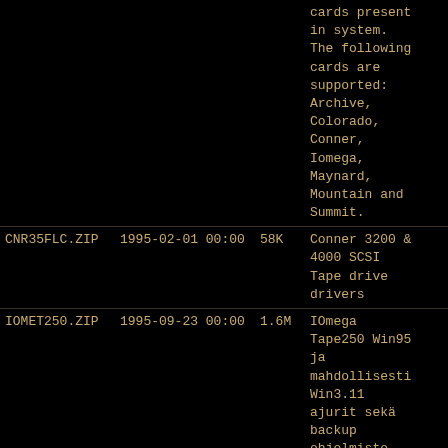| Filename | Date/Time | Size | Description |
| --- | --- | --- | --- |
|  |  |  | cards present in system. The following cards are supported: Archive, Colorado, Conner, Iomega, Maynard, Mountain and Summit. |
| CNR35FLC.ZIP | 1995-02-01 00:00 | 58K | Conner 3200 & 4000 SCSI Tape drive drivers |
| IOMET250.ZIP | 1995-09-23 00:00 | 1.6M | IOmega Tape250 Win95 ja mahdollisesti Win3.11 ajurit sekä backup ohjelmisto. Pura -D parametrilla. |
| CONNER.ZIP | 1995-10-23 00:00 | 112K | winnt drivers for Conner |